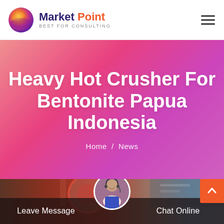Market Point — BEST FOR CONSULTING
Heavy Hot Crusher For Bentonite Papua Indonesia
Home / News
[Figure (photo): Industrial machinery photo at bottom of page with a female customer service avatar, Leave Message and Chat Online buttons, and a scroll-to-top orange button]